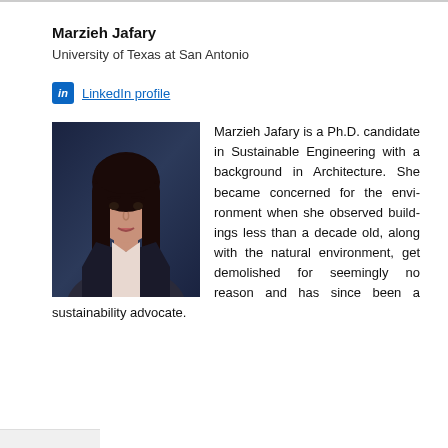Marzieh Jafary
University of Texas at San Antonio
LinkedIn profile
[Figure (photo): Professional headshot of Marzieh Jafary, a woman with dark hair, wearing a dark blazer, against a dark background]
Marzieh Jafary is a Ph.D. candidate in Sustainable Engineering with a background in Architecture. She became concerned for the environment when she observed buildings less than a decade old, along with the natural environment, get demolished for seemingly no reason and has since been a sustainability advocate.